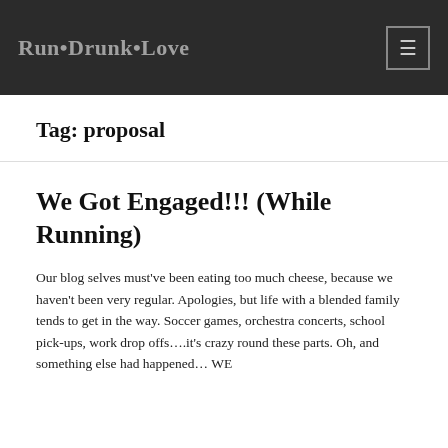Run•Drunk•Love
Tag: proposal
We Got Engaged!!! (While Running)
Our blog selves must've been eating too much cheese, because we haven't been very regular. Apologies, but life with a blended family tends to get in the way. Soccer games, orchestra concerts, school pick-ups, work drop offs….it's crazy round these parts. Oh, and something else had happened… WE